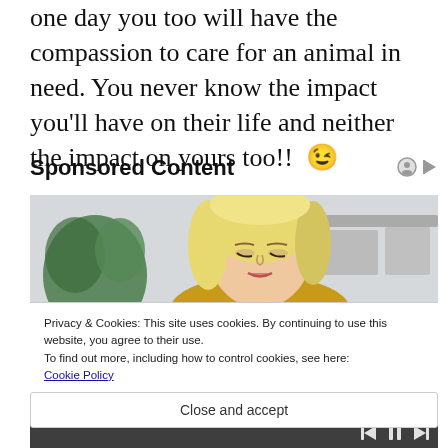one day you too will have the compassion to care for an animal in need. You never know the impact you'll have on their life and neither the impact on yours too!!  😉
Sponsored Content
[Figure (photo): A blonde woman in a yellow sweater looking down, photographed indoors with a plant and shelving visible in background.]
Privacy & Cookies: This site uses cookies. By continuing to use this website, you agree to their use.
To find out more, including how to control cookies, see here: Cookie Policy
Close and accept